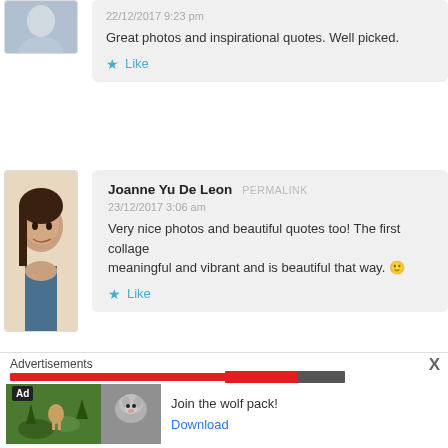22/12/2017 9:23 pm
Great photos and inspirational quotes. Well picked.
Like
Joanne Yu De Leon  PERMALINK
23/12/2017 3:06 am
Very nice photos and beautiful quotes too! The first collage meaningful and vibrant and is beautiful that way. 🙂
Like
Advertisements
Join the wolf pack!
Download